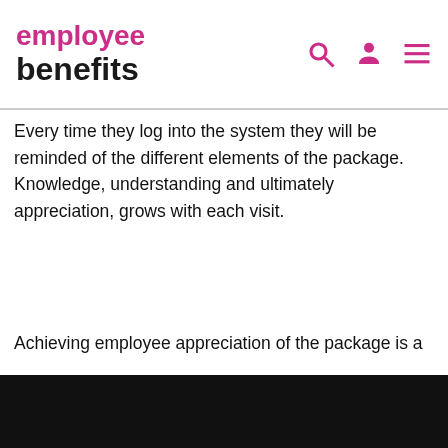employee benefits
Every time they log into the system they will be reminded of the different elements of the package. Knowledge, understanding and ultimately appreciation, grows with each visit.
Achieving employee appreciation of the package is a [partially obscured by cookie banner] ...ancial ...tely ...refore ...d and ...fits ...sity. ...the ...d in today's war for talent, they will be the ones who win.
[Figure (screenshot): Cookie consent banner overlay with black background. Text reads: 'This website uses cookies to improve your experience. By continuing to browse this site you are agreeing to our use of these cookies. You can learn more about the cookies we use here.' Yellow close bar with X button at bottom.]